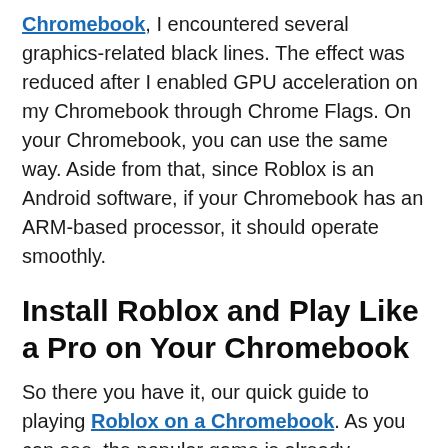Chromebook, I encountered several graphics-related black lines. The effect was reduced after I enabled GPU acceleration on my Chromebook through Chrome Flags. On your Chromebook, you can use the same way. Aside from that, since Roblox is an Android software, if your Chromebook has an ARM-based processor, it should operate smoothly.
Install Roblox and Play Like a Pro on Your Chromebook
So there you have it, our quick guide to playing Roblox on a Chromebook. As you can see, the popular game is already available on the Google Play Store, so you won't have to go through any